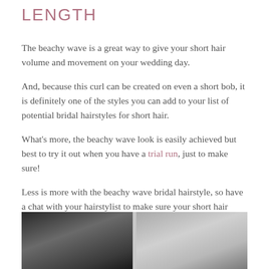LENGTH
The beachy wave is a great way to give your short hair volume and movement on your wedding day.
And, because this curl can be created on even a short bob, it is definitely one of the styles you can add to your list of potential bridal hairstyles for short hair.
What's more, the beachy wave look is easily achieved but best to try it out when you have a trial run, just to make sure!
Less is more with the beachy wave bridal hairstyle, so have a chat with your hairstylist to make sure your short hair doesn't look over-styled.
[Figure (photo): Two black and white photos side by side showing short bridal hairstyles]